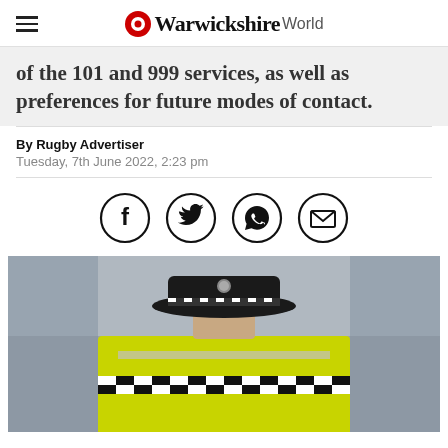Warwickshire World
of the 101 and 999 services, as well as preferences for future modes of contact.
By Rugby Advertiser
Tuesday, 7th June 2022, 2:23 pm
[Figure (other): Social sharing icons: Facebook, Twitter, WhatsApp, Email]
[Figure (photo): Rear view of a police officer wearing a black hat and high-visibility yellow jacket with checkered band]